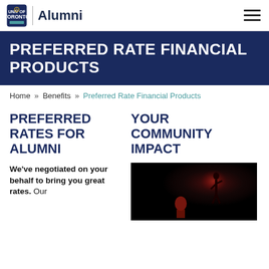University of Toronto Alumni
PREFERRED RATE FINANCIAL PRODUCTS
Home » Benefits » Preferred Rate Financial Products
PREFERRED RATES FOR ALUMNI
YOUR COMMUNITY IMPACT
We've negotiated on your behalf to bring you great rates. Our
[Figure (photo): A performer on a dark stage with dramatic red/orange lighting behind them]